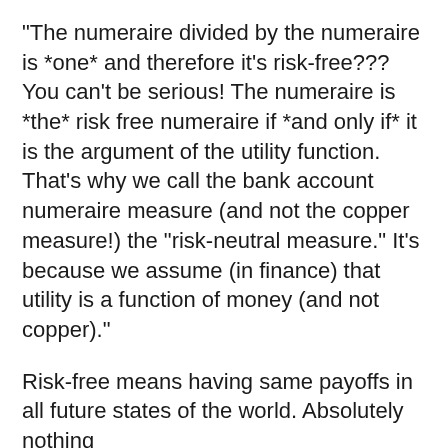"The numeraire divided by the numeraire is *one* and therefore it's risk-free??? You can't be serious! The numeraire is *the* risk free numeraire if *and only if* it is the argument of the utility function. That's why we call the bank account numeraire measure (and not the copper measure!) the "risk-neutral measure." It's because we assume (in finance) that utility is a function of money (and not copper)."
Risk-free means having same payoffs in all future states of the world. Absolutely nothing